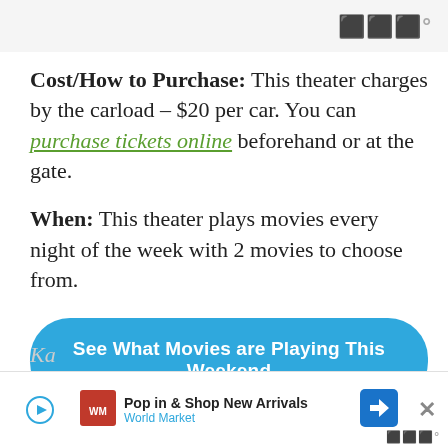www°
Cost/How to Purchase: This theater charges by the carload – $20 per car. You can purchase tickets online beforehand or at the gate.
When: This theater plays movies every night of the week with 2 movies to choose from.
[Figure (other): Blue rounded button reading 'See What Movies are Playing This Weekend']
Boulevard Drive-In Theater
[Figure (screenshot): Advertisement banner: Pop in & Shop New Arrivals - World Market, with play button icon, World Market logo, navigation arrow icon, and close button]